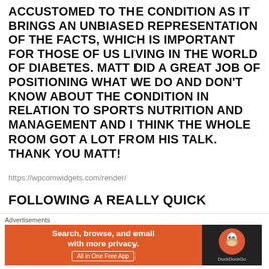ACCUSTOMED TO THE CONDITION AS IT BRINGS AN UNBIASED REPRESENTATION OF THE FACTS, WHICH IS IMPORTANT FOR THOSE OF US LIVING IN THE WORLD OF DIABETES. MATT DID A GREAT JOB OF POSITIONING WHAT WE DO AND DON'T KNOW ABOUT THE CONDITION IN RELATION TO SPORTS NUTRITION AND MANAGEMENT AND I THINK THE WHOLE ROOM GOT A LOT FROM HIS TALK. THANK YOU MATT!
https://wpcomwidgets.com/render/
FOLLOWING A REALLY QUICK
[Figure (screenshot): DuckDuckGo advertisement banner with orange background on left reading 'Search, browse, and email with more privacy. All in One Free App' and dark background on right showing DuckDuckGo duck logo]